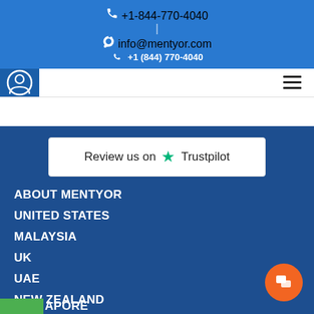+1-844-770-4040 | info@mentyor.com +1 (844) 770-4040
[Figure (logo): Mentyor user profile icon logo on blue background]
[Figure (other): Hamburger menu icon (three horizontal lines)]
[Figure (other): Trustpilot review badge: Review us on Trustpilot with green star]
ABOUT MENTYOR
UNITED STATES
MALAYSIA
UK
UAE
NEW ZEALAND
SINGAPORE
[Figure (other): Orange circular chat button with speech bubble icon]